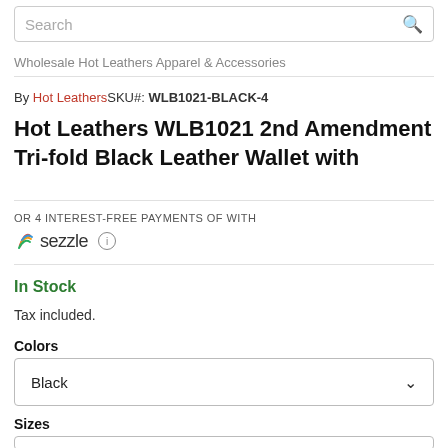Search
Wholesale Hot Leathers Apparel & Accessories
By Hot Leathers SKU#: WLB1021-BLACK-4
Hot Leathers WLB1021 2nd Amendment Tri-fold Black Leather Wallet with
OR 4 INTEREST-FREE PAYMENTS OF WITH
sezzle
In Stock
Tax included.
Colors
Black
Sizes